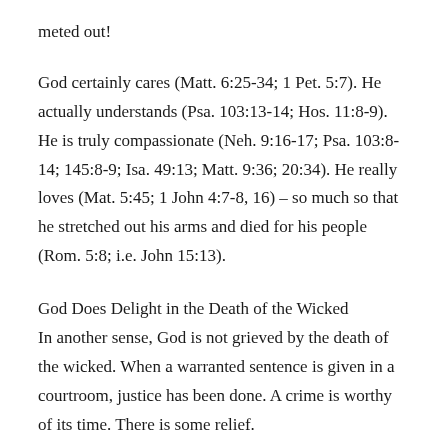meted out!
God certainly cares (Matt. 6:25-34; 1 Pet. 5:7). He actually understands (Psa. 103:13-14; Hos. 11:8-9). He is truly compassionate (Neh. 9:16-17; Psa. 103:8-14; 145:8-9; Isa. 49:13; Matt. 9:36; 20:34). He really loves (Mat. 5:45; 1 John 4:7-8, 16) – so much so that he stretched out his arms and died for his people (Rom. 5:8; i.e. John 15:13).
God Does Delight in the Death of the Wicked
In another sense, God is not grieved by the death of the wicked. When a warranted sentence is given in a courtroom, justice has been done. A crime is worthy of its time. There is some relief.